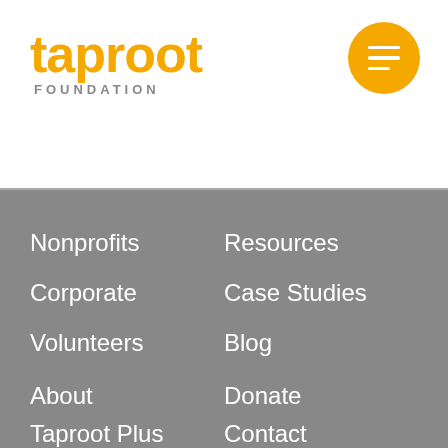[Figure (logo): Taproot Foundation logo with yellow/orange wordmark and FOUNDATION subtitle, plus hamburger menu button (yellow circle with white lines) in top right]
Nonprofits
Resources
Corporate
Case Studies
Volunteers
Blog
FAQs
Press
About
Donate
Taproot Plus
Contact
Events
Careers